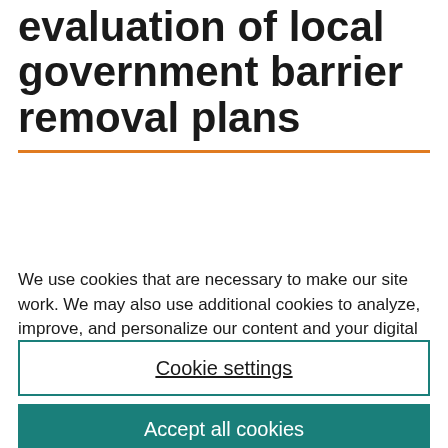evaluation of local government barrier removal plans
We use cookies that are necessary to make our site work. We may also use additional cookies to analyze, improve, and personalize our content and your digital experience. For more information, see our Cookie Policy.
Cookie settings
Accept all cookies